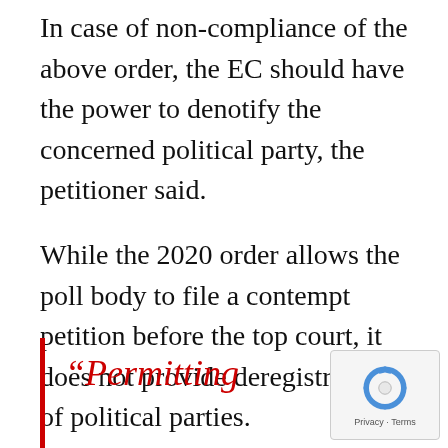In case of non-compliance of the above order, the EC should have the power to denotify the concerned political party, the petitioner said.
While the 2020 order allows the poll body to file a contempt petition before the top court, it does not provide deregistration of political parties.
“Permitting
[Figure (other): reCAPTCHA logo and Privacy - Terms text in bottom right corner]